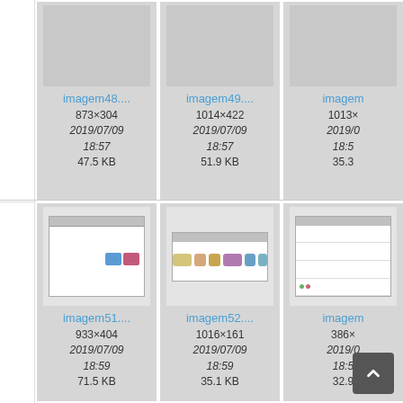[Figure (screenshot): Thumbnail card for imagem48 – dimensions 873×304, date 2019/07/09 18:57, size 47.5 KB]
[Figure (screenshot): Thumbnail card for imagem49 – dimensions 1014×422, date 2019/07/09 18:57, size 51.9 KB]
[Figure (screenshot): Thumbnail card for imagem (partial) – dimensions 1013×…, date 2019/0… 18:5…, size 35.3…]
[Figure (screenshot): Thumbnail card for imagem51 with screenshot showing a GUI form – dimensions 933×404, date 2019/07/09 18:59, size 71.5 KB]
[Figure (screenshot): Thumbnail card for imagem52 with screenshot showing flowchart elements – dimensions 1016×161, date 2019/07/09 18:59, size 35.1 KB]
[Figure (screenshot): Thumbnail card for imagem (partial) with spreadsheet screenshot – dimensions 386×…, date 2019/0… 18:5…, size 32.9…]